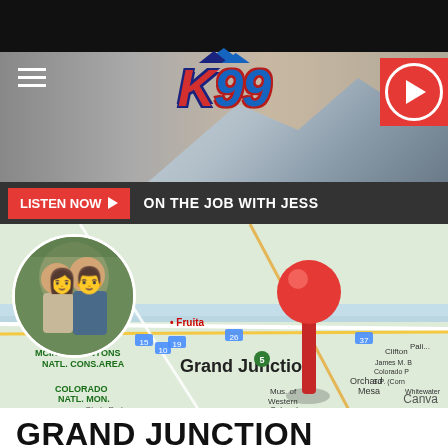[Figure (screenshot): K99 radio station website screenshot showing the K99 logo, a hamburger menu icon, a red play button, a red LISTEN NOW button with ON THE JOB WITH JESS text, and a main image of a map of Grand Junction Colorado with a red map pin and a circular photo of a couple.]
GRAND JUNCTION MAKES TOP 10